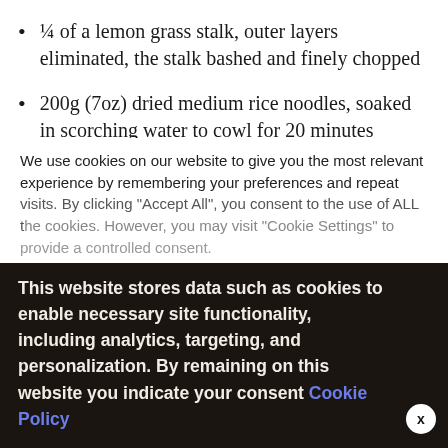¼ of a lemon grass stalk, outer layers eliminated, the stalk bashed and finely chopped
200g (7oz) dried medium rice noodles, soaked in scorching water to cowl for 20 minutes
2cm piece of contemporary ginger, peeled and finely chopped
For the pad Thai sauce
We use cookies on our website to give you the most relevant experience by remembering your preferences and repeat visits. By clicking "Accept All", you consent to the use of ALL the cookies. However, you may visit "Cookie Settings" to provide a controlled consent.
This website stores data such as cookies to enable necessary site functionality, including analytics, targeting, and personalization. By remaining on this website you indicate your consent Cookie Policy